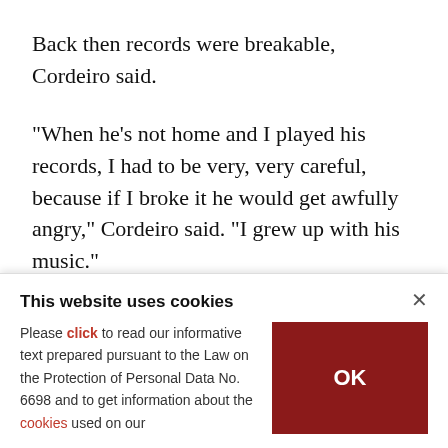Back then records were breakable, Cordeiro said.
"When he's not home and I played his records, I had to be very, very careful, because if I broke it he would get awfully angry," Cordeiro said. "I grew up with his music."
In his youth, Cordeiro worked as a warden at a local prison and a clerk at an HSBC bank. His love f…
This website uses cookies
Please click to read our informative text prepared pursuant to the Law on the Protection of Personal Data No. 6698 and to get information about the cookies used on our